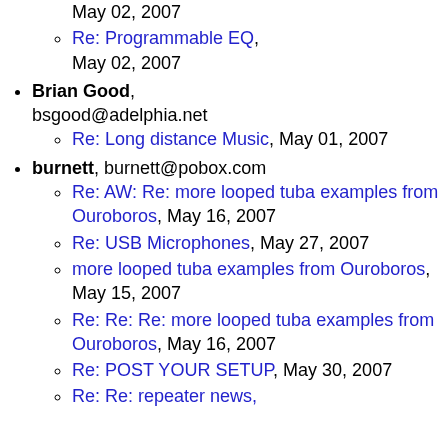May 02, 2007
Re: Programmable EQ, May 02, 2007
Brian Good, bsgood@adelphia.net
Re: Long distance Music, May 01, 2007
burnett, burnett@pobox.com
Re: AW: Re: more looped tuba examples from Ouroboros, May 16, 2007
Re: USB Microphones, May 27, 2007
more looped tuba examples from Ouroboros, May 15, 2007
Re: Re: Re: more looped tuba examples from Ouroboros, May 16, 2007
Re: POST YOUR SETUP, May 30, 2007
Re: Re: repeater news,